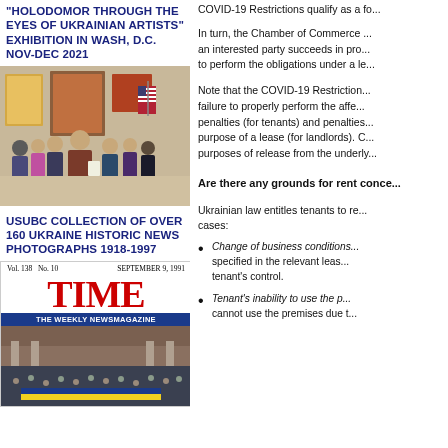"HOLODOMOR THROUGH THE EYES OF UKRAINIAN ARTISTS" EXHIBITION IN WASH, D.C. NOV-DEC 2021
[Figure (photo): Group photo at an exhibition opening, people standing in a gallery with artwork on the walls and an American flag visible.]
USUBC COLLECTION OF OVER 160 UKRAINE HISTORIC NEWS PHOTOGRAPHS 1918-1997
[Figure (photo): TIME magazine cover, Vol. 138 No. 10, September 9, 1991, with the TIME logo, subtitle 'THE WEEKLY NEWSMAGAZINE', and a photo of a large assembly hall filled with people.]
COVID-19 Restrictions qualify as a fo...
In turn, the Chamber of Commerce ... an interested party succeeds in pro... to perform the obligations under a le...
Note that the COVID-19 Restriction... failure to properly perform the affe... penalties (for tenants) and penalties... purpose of a lease (for landlords). C... purposes of release from the underly...
Are there any grounds for rent conce...
Ukrainian law entitles tenants to re... cases:
Change of business conditions... specified in the relevant leas... tenant's control.
Tenant's inability to use the p... cannot use the premises due t...